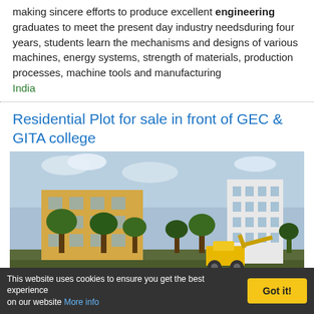making sincere efforts to produce excellent engineering graduates to meet the present day industry needsduring four years, students learn the mechanisms and designs of various machines, energy systems, strength of materials, production processes, machine tools and manufacturing India
Residential Plot for sale in front of GEC & GITA college
[Figure (photo): Photograph of college campus buildings (a yellow multi-storey building and a white building) with trees and a construction vehicle (yellow JCB) in the foreground, under a partly cloudy sky.]
This website uses cookies to ensure you get the best experience on our website More info | Got it!